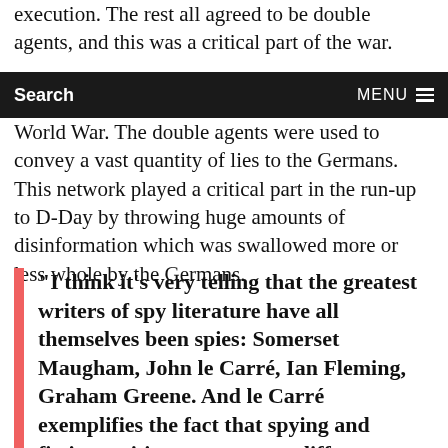execution. The rest all agreed to be double agents, and this was a critical part of the war.
Search   MENU
World War. The double agents were used to convey a vast quantity of lies to the Germans. This network played a critical part in the run-up to D-Day by throwing huge amounts of disinformation which was swallowed more or less whole by the Germans.
“I think it’s very telling that the greatest writers of spy literature have all themselves been spies: Somerset Maugham, John le Carré, Ian Fleming, Graham Greene. And le Carré exemplifies the fact that spying and fiction-writing are not very different things.”